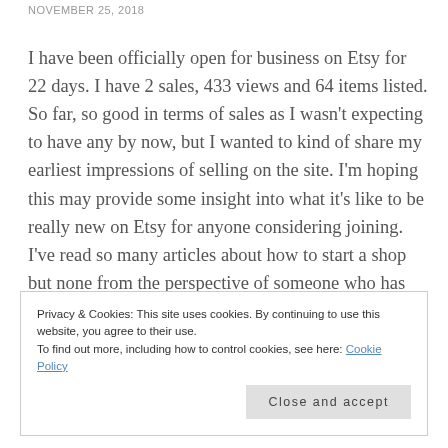NOVEMBER 25, 2018
I have been officially open for business on Etsy for 22 days. I have 2 sales, 433 views and 64 items listed. So far, so good in terms of sales as I wasn't expecting to have any by now, but I wanted to kind of share my earliest impressions of selling on the site. I'm hoping this may provide some insight into what it's like to be really new on Etsy for anyone considering joining. I've read so many articles about how to start a shop but none from the perspective of someone who has just started so I want to share with you want I have learned over the last busy
Privacy & Cookies: This site uses cookies. By continuing to use this website, you agree to their use.
To find out more, including how to control cookies, see here: Cookie Policy
Close and accept